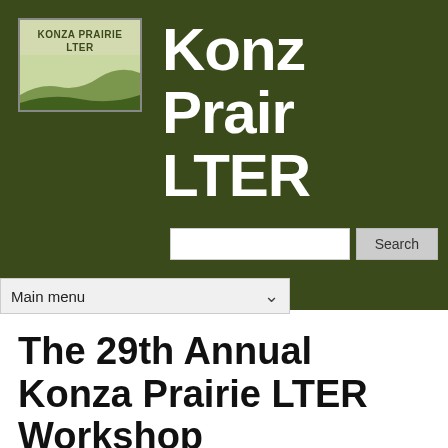[Figure (logo): Konza Prairie LTER logo with landscape illustration showing prairie hills in green tones]
Konza Prairie LTER
Main menu
The 29th Annual Konza Prairie LTER Workshop
The 29th Annual Konza Prairie LTER Workshop was held on Saturday, September 4, 2021, in the Big 12 Room at the K…